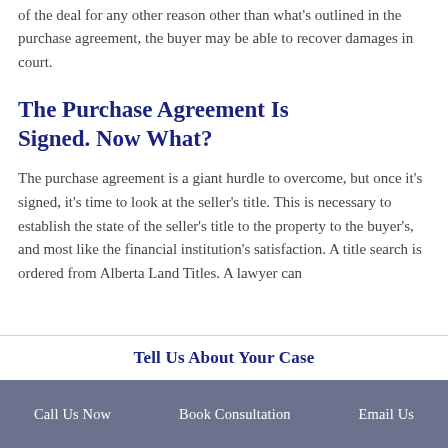of the deal for any other reason other than what's outlined in the purchase agreement, the buyer may be able to recover damages in court.
The Purchase Agreement Is Signed. Now What?
The purchase agreement is a giant hurdle to overcome, but once it's signed, it's time to look at the seller's title. This is necessary to establish the state of the seller's title to the property to the buyer's, and most like the financial institution's satisfaction. A title search is ordered from Alberta Land Titles. A lawyer can
Tell Us About Your Case
Call Us Now   Book Consultation   Email Us